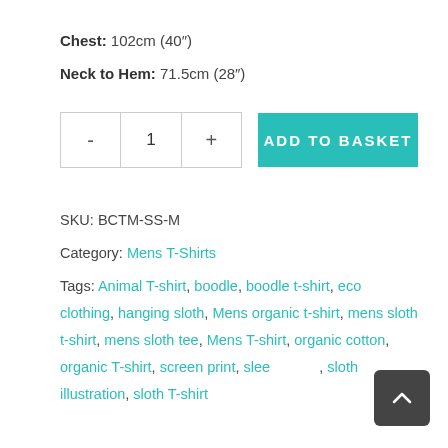Chest: 102cm (40")
Neck to Hem: 71.5cm (28")
SKU: BCTM-SS-M
Category: Mens T-Shirts
Tags: Animal T-shirt, boodle, boodle t-shirt, eco clothing, hanging sloth, Mens organic t-shirt, mens sloth t-shirt, mens sloth tee, Mens T-shirt, organic cotton, organic T-shirt, screen print, sleeveless, sloth illustration, sloth T-shirt